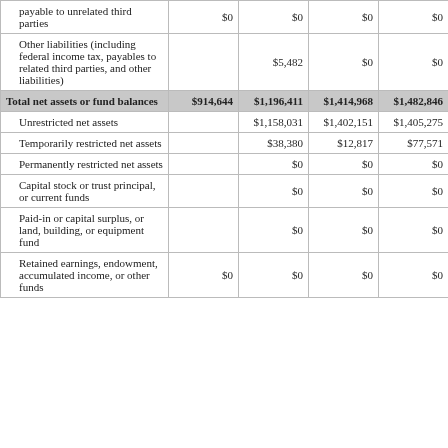|  | Col1 | Col2 | Col3 | Col4 |
| --- | --- | --- | --- | --- |
| Unsecured notes and bills payable to unrelated third parties | $0 | $0 | $0 | $0 |
| Other liabilities (including federal income tax, payables to related third parties, and other liabilities) |  | $5,482 | $0 | $0 |
| Total net assets or fund balances | $914,644 | $1,196,411 | $1,414,968 | $1,482,846 |
| Unrestricted net assets |  | $1,158,031 | $1,402,151 | $1,405,275 |
| Temporarily restricted net assets |  | $38,380 | $12,817 | $77,571 |
| Permanently restricted net assets |  | $0 | $0 | $0 |
| Capital stock or trust principal, or current funds |  | $0 | $0 | $0 |
| Paid-in or capital surplus, or land, building, or equipment fund |  | $0 | $0 | $0 |
| Retained earnings, endowment, accumulated income, or other funds | $0 | $0 | $0 | $0 |